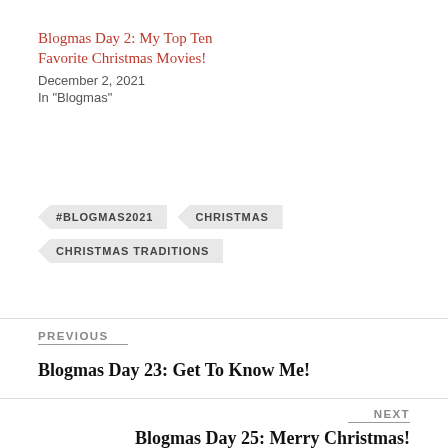Blogmas Day 2: My Top Ten Favorite Christmas Movies!
December 2, 2021
In "Blogmas"
#BLOGMAS2021
CHRISTMAS
CHRISTMAS TRADITIONS
PREVIOUS
Blogmas Day 23: Get To Know Me!
NEXT
Blogmas Day 25: Merry Christmas!